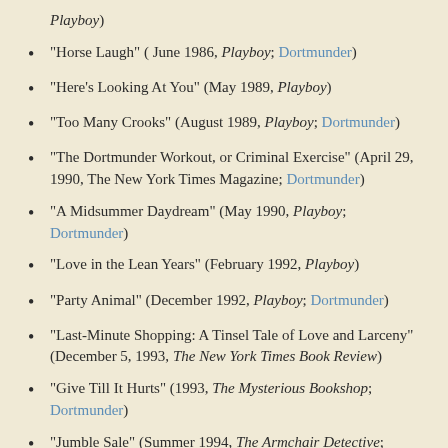Playboy)
"Horse Laugh" ( June 1986, Playboy; Dortmunder)
"Here's Looking At You" (May 1989, Playboy)
"Too Many Crooks" (August 1989, Playboy; Dortmunder)
"The Dortmunder Workout, or Criminal Exercise" (April 29, 1990, The New York Times Magazine; Dortmunder)
"A Midsummer Daydream" (May 1990, Playboy; Dortmunder)
"Love in the Lean Years" (February 1992, Playboy)
"Party Animal" (December 1992, Playboy; Dortmunder)
"Last-Minute Shopping: A Tinsel Tale of Love and Larceny" (December 5, 1993, The New York Times Book Review)
"Give Till It Hurts" (1993, The Mysterious Bookshop; Dortmunder)
"Jumble Sale" (Summer 1994, The Armchair Detective; Dortmunder)